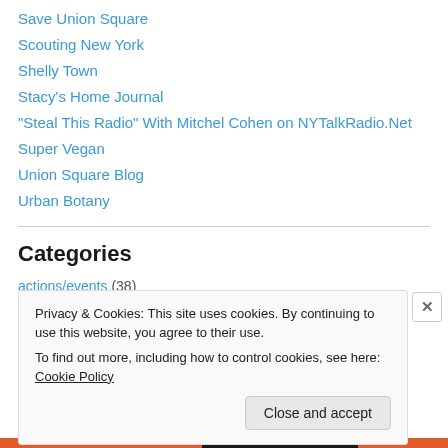Save Union Square
Scouting New York
Shelly Town
Stacy's Home Journal
"Steal This Radio" With Mitchel Cohen on NYTalkRadio.Net
Super Vegan
Union Square Blog
Urban Botany
Categories
actions/events (38)
Privacy & Cookies: This site uses cookies. By continuing to use this website, you agree to their use.
To find out more, including how to control cookies, see here: Cookie Policy
Close and accept